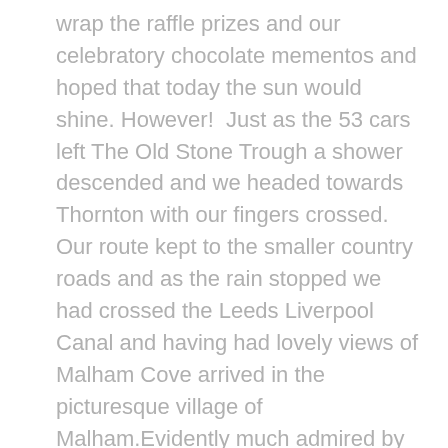wrap the raffle prizes and our celebratory chocolate mementos and hoped that today the sun would shine. However!  Just as the 53 cars left The Old Stone Trough a shower descended and we headed towards Thornton with our fingers crossed. Our route kept to the smaller country roads and as the rain stopped we had crossed the Leeds Liverpool Canal and having had lovely views of Malham Cove arrived in the picturesque village of Malham.Evidently much admired by Bill Bryson who gives it rave revues! The route continued on with views of the Three Peaks, crossing the Settle Carlisle railway and a stunning view of the iconic Ribblehead viaduct before arriving in the village of Dent. Many cars